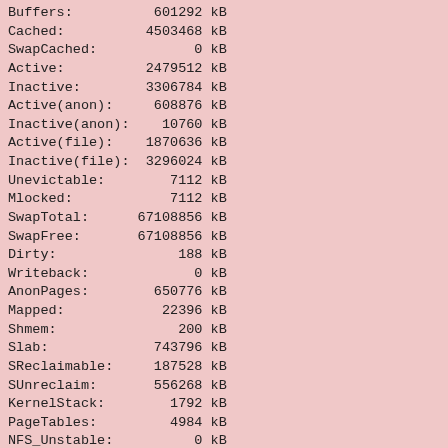Buffers:          601292 kB
Cached:          4503468 kB
SwapCached:            0 kB
Active:          2479512 kB
Inactive:        3306784 kB
Active(anon):     608876 kB
Inactive(anon):    10760 kB
Active(file):    1870636 kB
Inactive(file):  3296024 kB
Unevictable:        7112 kB
Mlocked:            7112 kB
SwapTotal:      67108856 kB
SwapFree:       67108856 kB
Dirty:               188 kB
Writeback:             0 kB
AnonPages:        650776 kB
Mapped:            22396 kB
Shmem:               200 kB
Slab:             743796 kB
SReclaimable:     187528 kB
SUnreclaim:       556268 kB
KernelStack:        1792 kB
PageTables:         4984 kB
NFS_Unstable:          0 kB
Bounce:                0 kB
WritebackTmp:          0 kB
CommitLimit:    83545668 kB
Committed_AS:    1562228 kB
VmallocTotal: 34359738367 kB
VmallocUsed:      346400 kB
VmallocChunk: 34341988052 kB
HardwareCorrupted:     0 kB
AnonHugePages:    509016 kB